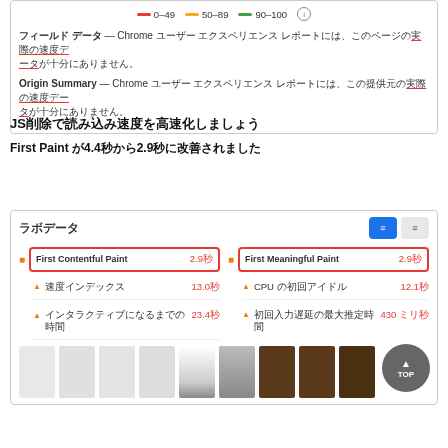[Figure (screenshot): Chrome PageSpeed legend showing 0-49 red, 50-89 orange, 90-100 green ranges, and field data sections in Japanese]
フィールド データ — Chrome ユーザー エクスペリエンス レポートには、このページの実際の速度データが十分にありません。
Origin Summary — Chrome ユーザー エクスペリエンス レポートには、この提供元の実際の速度データが十分にありません。
JSを削除して読み込み速度を高速化しましょう
First Paint が4.4秒から2.9秒に改善されました
[Figure (screenshot): Chrome PageSpeed lab data panel showing First Contentful Paint 2.9秒, First Meaningful Paint 2.9秒, 速度インデックス 13.0秒, CPUの初回アイドル 12.1秒, インタラクティブになるまでの時間 23.4秒, 初回入力遅延の最大推定時間 430ミリ秒, and a filmstrip of page load thumbnails]